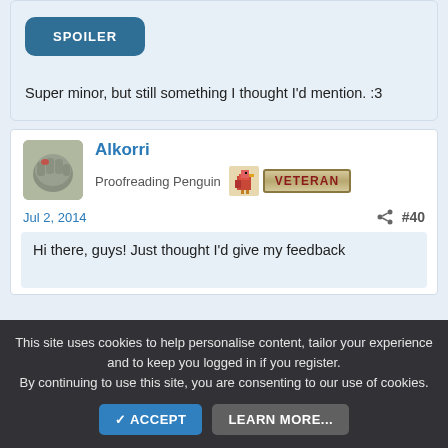[Figure (other): SPOILER button — dark teal rounded rectangle button with white bold text 'SPOILER']
Super minor, but still something I thought I'd mention. :3
Alkorri
Proofreading Penguin
[Figure (other): Small pixel-art chicken/bird badge icon and a VETERAN badge with tan/gold border and dark red text]
Jul 2, 2014
#40
Hi there, guys! Just thought I'd give my feedback
This site uses cookies to help personalise content, tailor your experience and to keep you logged in if you register. By continuing to use this site, you are consenting to our use of cookies.
✓ ACCEPT
LEARN MORE...